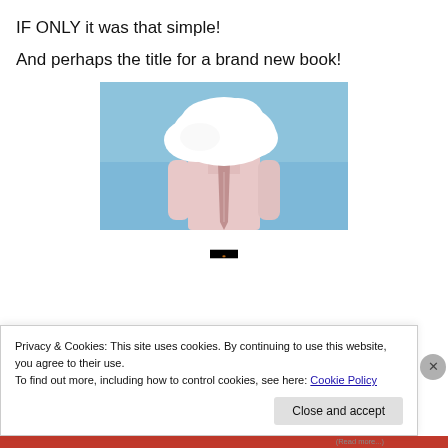IF ONLY it was that simple!
And perhaps the title for a brand new book!
[Figure (photo): A person in a pink dress shirt and tie with a white cloud covering their head, against a blue sky background.]
[Figure (screenshot): A dark/black video player thumbnail with a small amber/orange light visible in the center-bottom area.]
Privacy & Cookies: This site uses cookies. By continuing to use this website, you agree to their use.
To find out more, including how to control cookies, see here: Cookie Policy
Close and accept